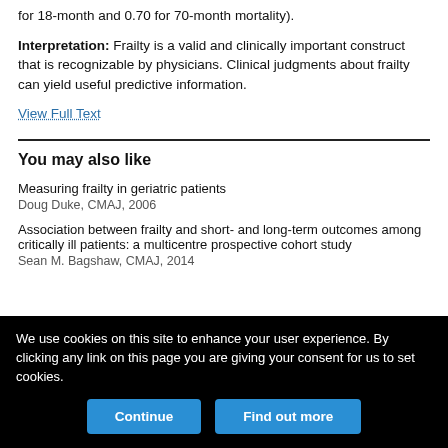for 18-month and 0.70 for 70-month mortality).
Interpretation: Frailty is a valid and clinically important construct that is recognizable by physicians. Clinical judgments about frailty can yield useful predictive information.
View Full Text
You may also like
Measuring frailty in geriatric patients
Doug Duke, CMAJ, 2006
Association between frailty and short- and long-term outcomes among critically ill patients: a multicentre prospective cohort study
Sean M. Bagshaw, CMAJ, 2014
We use cookies on this site to enhance your user experience. By clicking any link on this page you are giving your consent for us to set cookies.